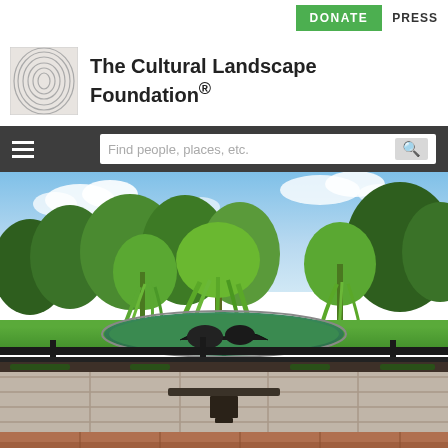DONATE  PRESS
The Cultural Landscape Foundation®
[Figure (other): Navigation bar with hamburger menu and search field reading 'Find people, places, etc.']
[Figure (photo): Landscape photograph showing a garden/park scene with willow trees, a pond with green water, lush green lawns, large deciduous trees, a dark metal railing/fence, a flat bench in the foreground, and a paved terrace with stone tiles in the very foreground. Blue sky with white clouds in the background.]